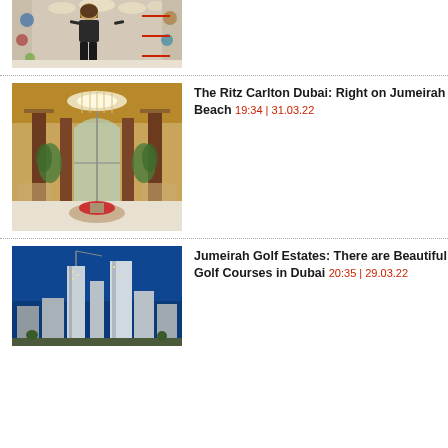[Figure (photo): Woman standing in a shop with decorative items, viewed from behind, partially cropped at top.]
[Figure (photo): Ornate hotel lobby interior of Ritz Carlton Dubai with chandelier, columns, and fountain.]
The Ritz Carlton Dubai: Right on Jumeirah Beach 19:34 | 31.03.22
[Figure (photo): Blue sky cityscape with skyscrapers, possibly Dubai Marina, related to Jumeirah Golf Estates article.]
Jumeirah Golf Estates: There are Beautiful Golf Courses in Dubai 20:35 | 29.03.22